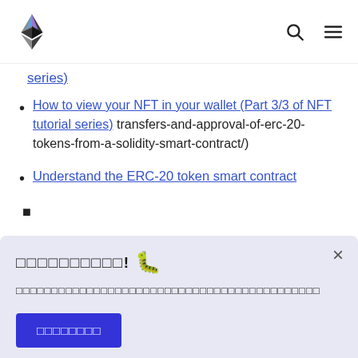Ethereum logo, search icon, menu icon
series) [partial link, cut off at top]
How to view your NFT in your wallet (Part 3/3 of NFT tutorial series) transfers-and-approval-of-erc-20-tokens-from-a-solidity-smart-contract/)
Understand the ERC-20 token smart contract
[Figure (screenshot): Modal dialog with caterpillar emoji, non-Latin script title and body text, and a blue button with non-Latin script label. Close (×) button in top right.]